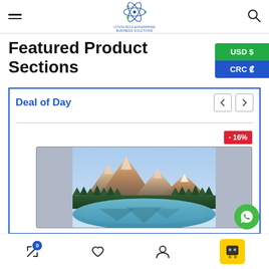Costa Rica Enterprise Business Solutions - Navigation header with hamburger menu, logo, and search icon
Featured Product Sections
USD $
CRC ₡
Deal of Day
- 16%
[Figure (photo): Mountain landscape with snow-capped peaks, a turquoise lake in the foreground, and dense green forest, reflecting the mountains.]
Bottom navigation bar with compare, wishlist, account, and cart icons